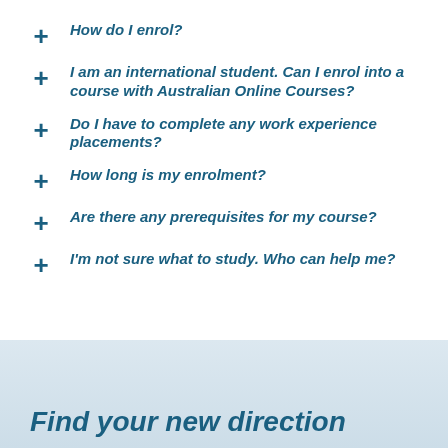How do I enrol?
I am an international student. Can I enrol into a course with Australian Online Courses?
Do I have to complete any work experience placements?
How long is my enrolment?
Are there any prerequisites for my course?
I'm not sure what to study. Who can help me?
Find your new direction